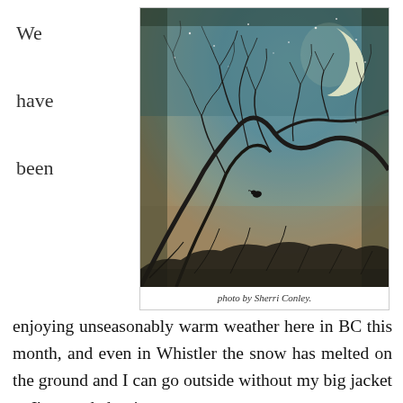We have been
[Figure (photo): Artistic photograph of bare tree branches silhouetted against a twilight sky with a crescent moon and stars, a small bird perched on a branch. Photo by Sherri Conley.]
photo by Sherri Conley.
enjoying unseasonably warm weather here in BC this month, and even in Whistler the snow has melted on the ground and I can go outside without my big jacket as I've needed to in